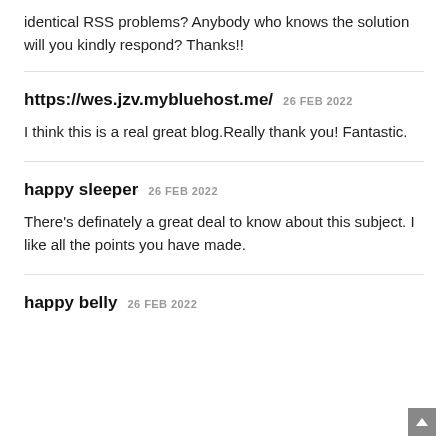identical RSS problems? Anybody who knows the solution will you kindly respond? Thanks!!
https://wes.jzv.mybluehost.me/ 26 FEB 2022
I think this is a real great blog.Really thank you! Fantastic.
happy sleeper 26 FEB 2022
There's definately a great deal to know about this subject. I like all the points you have made.
happy belly 26 FEB 2022